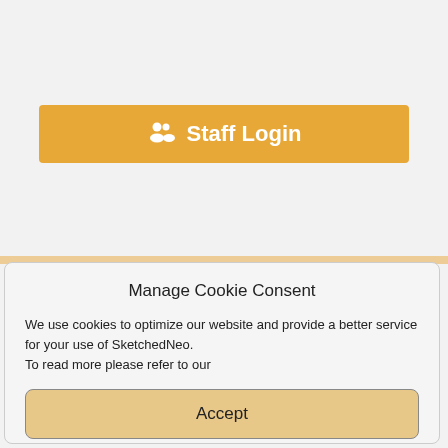[Figure (screenshot): Staff Login button with orange background and user group icon]
Manage Cookie Consent
We use cookies to optimize our website and provide a better service for your use of SketchedNeo.
To read more please refer to our
Accept